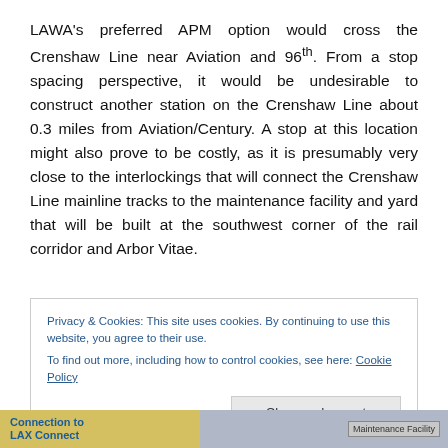LAWA's preferred APM option would cross the Crenshaw Line near Aviation and 96th. From a stop spacing perspective, it would be undesirable to construct another station on the Crenshaw Line about 0.3 miles from Aviation/Century. A stop at this location might also prove to be costly, as it is presumably very close to the interlockings that will connect the Crenshaw Line mainline tracks to the maintenance facility and yard that will be built at the southwest corner of the rail corridor and Arbor Vitae.
Privacy & Cookies: This site uses cookies. By continuing to use this website, you agree to their use.
To find out more, including how to control cookies, see here: Cookie Policy
[Figure (screenshot): Bottom strip showing partial website content with yellow-background text 'Connection to LAX Connect' on the left and a map/diagram image on the right with 'Maintenance Facility' label]